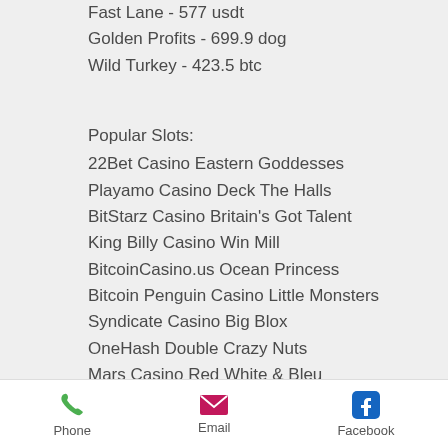Fast Lane - 577 usdt
Golden Profits - 699.9 dog
Wild Turkey - 423.5 btc
Popular Slots:
22Bet Casino Eastern Goddesses
Playamo Casino Deck The Halls
BitStarz Casino Britain's Got Talent
King Billy Casino Win Mill
BitcoinCasino.us Ocean Princess
Bitcoin Penguin Casino Little Monsters
Syndicate Casino Big Blox
OneHash Double Crazy Nuts
Mars Casino Red White & Bleu
Bitcasino.io Burning Desire
Diamond Reels Casino Black Gold
Betchan Casino Wheel of Cash
CryptoWild Casino Girls with Guns Frozen
Phone  Email  Facebook